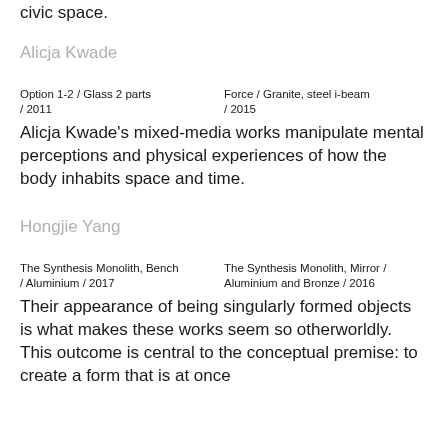civic space.
Alicja Kwade
Option 1-2 / Glass 2 parts / 2011
Force / Granite, steel i-beam / 2015
Alicja Kwade's mixed-media works manipulate mental perceptions and physical experiences of how the body inhabits space and time.
Hongjie Yang
The Synthesis Monolith, Bench / Aluminium / 2017
The Synthesis Monolith, Mirror / Aluminium and Bronze / 2016
Their appearance of being singularly formed objects is what makes these works seem so otherworldly. This outcome is central to the conceptual premise: to create a form that is at once